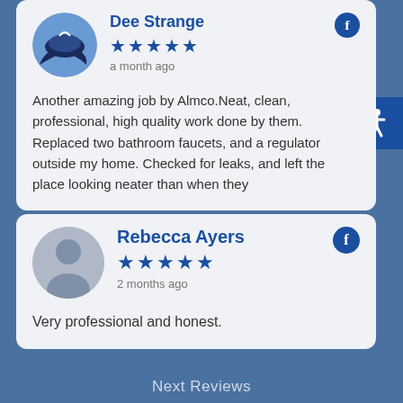Dee Strange
a month ago
Another amazing job by Almco.Neat, clean, professional, high quality work done by them. Replaced two bathroom faucets, and a regulator outside my home. Checked for leaks, and left the place looking neater than when they
Rebecca Ayers
2 months ago
Very professional and honest.
Next Reviews